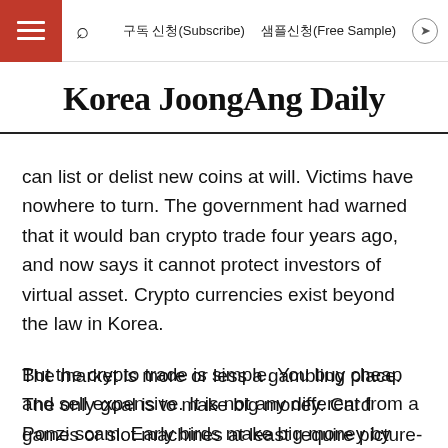구독 신청(Subscribe) 샘플신청(Free Sample)
Korea JoongAng Daily
can list or delist new coins at will. Victims have nowhere to turn. The government had warned that it would ban crypto trade four years ago, and now says it cannot protect investors of virtual asset. Crypto currencies exist beyond the law in Korea.
The market is more or less a gambling place. The only goal is to make big money. Card games or slot machines at least require picture-matching.
But the crypto trade is simple. You buy cheap and sell expensive. It is not any different from a Ponzi scam. Early birds make big money by luring in novices.